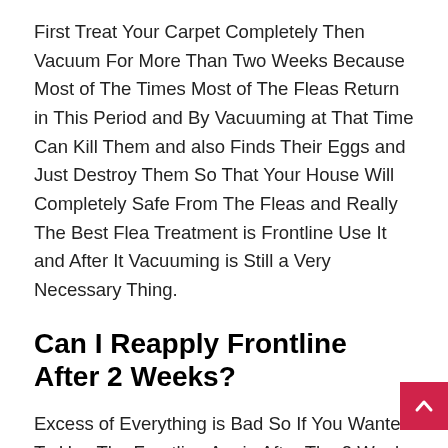First Treat Your Carpet Completely Then Vacuum For More Than Two Weeks Because Most of The Times Most of The Fleas Return in This Period and By Vacuuming at That Time Can Kill Them and also Finds Their Eggs and Just Destroy Them So That Your House Will Completely Safe From The Fleas and Really The Best Flea Treatment is Frontline Use It and After It Vacuuming is Still a Very Necessary Thing.
Can I Reapply Frontline After 2 Weeks?
Excess of Everything is Bad So If You Wanted To Use The Frontline Again After The 2 Weeks Because Your House is again Full With The Fleas and Especially Your in Your C Body Fleas are also Coming Do We Can Reapply Frontline